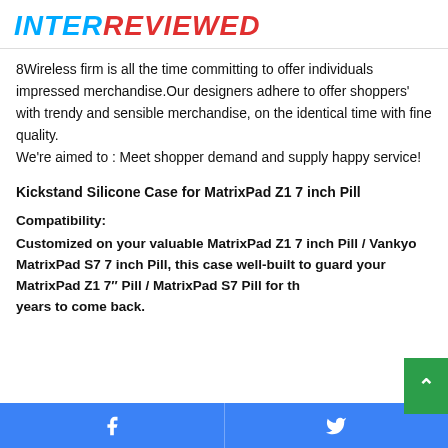INTERREVIEWED
8Wireless firm is all the time committing to offer individuals impressed merchandise.Our designers adhere to offer shoppers' with trendy and sensible merchandise, on the identical time with fine quality.
We're aimed to : Meet shopper demand and supply happy service!
Kickstand Silicone Case for MatrixPad Z1 7 inch Pill
Compatibility:
Customized on your valuable MatrixPad Z1 7 inch Pill / Vankyo MatrixPad S7 7 inch Pill, this case well-built to guard your MatrixPad Z1 7″ Pill / MatrixPad S7 Pill for the years to come back.